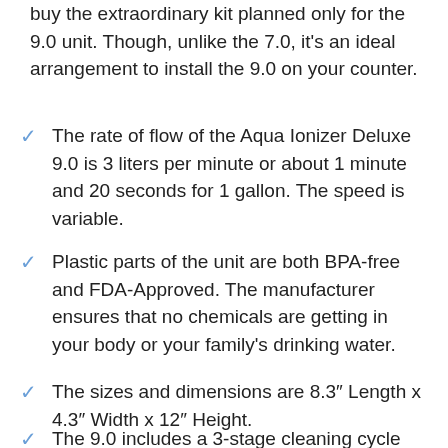buy the extraordinary kit planned only for the 9.0 unit. Though, unlike the 7.0, it's an ideal arrangement to install the 9.0 on your counter.
The rate of flow of the Aqua Ionizer Deluxe 9.0 is 3 liters per minute or about 1 minute and 20 seconds for 1 gallon. The speed is variable.
Plastic parts of the unit are both BPA-free and FDA-Approved. The manufacturer ensures that no chemicals are getting in your body or your family's drinking water.
The sizes and dimensions are 8.3″ Length x 4.3″ Width x 12″ Height.
The 9.0 includes a 3-stage cleaning cycle